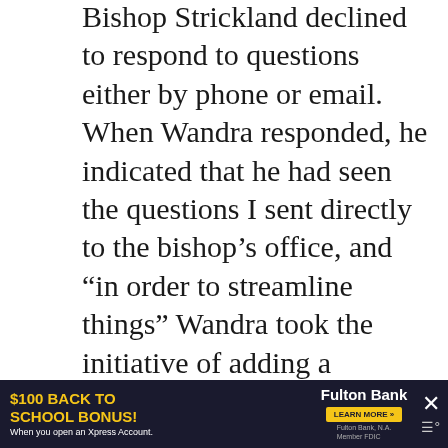Bishop Strickland declined to respond to questions either by phone or email. When Wandra responded, he indicated that he had seen the questions I sent directly to the bishop's office, and "in order to streamline things" Wandra took the initiative of adding a response quoting the bishop to one of those questions. When I asked if he was speaking for the bishop, since the bishop had clearly shared my email with him, he did not respond.
***
Image with VS logo is a still from the promotional vi...
[Figure (other): Fulton Bank advertisement banner: '$100 Back to School Bonus! When you open an Xpress Account.' with Fulton Bank logo and Learn More button.]